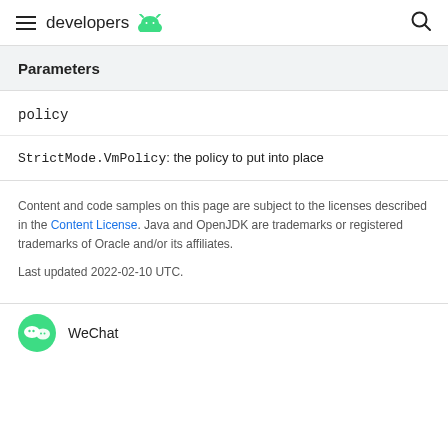developers
Parameters
policy
StrictMode.VmPolicy: the policy to put into place
Content and code samples on this page are subject to the licenses described in the Content License. Java and OpenJDK are trademarks or registered trademarks of Oracle and/or its affiliates.
Last updated 2022-02-10 UTC.
WeChat